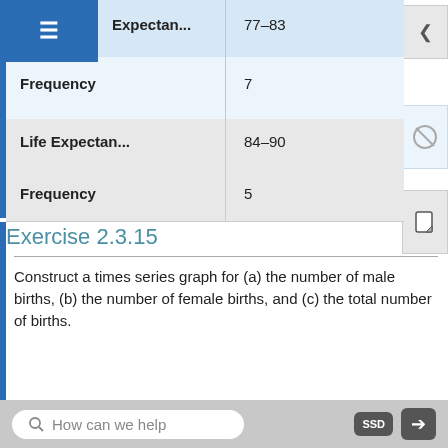|  |  |
| --- | --- |
| Expectan... | 77–83 |
| Frequency | 7 |
| Life Expectan... | 84–90 |
| Frequency | 5 |
Exercise 2.3.15
Construct a times series graph for (a) the number of male births, (b) the number of female births, and (c) the total number of births.
| Sex/Year |
| --- |
| 1855 |
How can we help   SSD